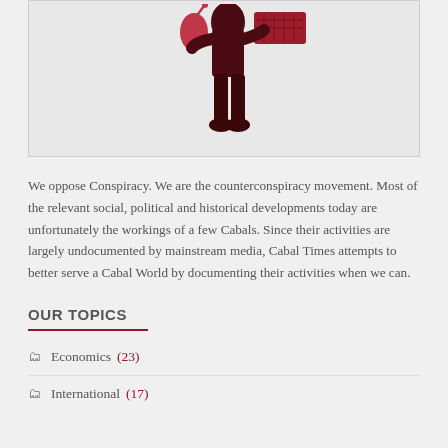[Figure (illustration): Dark red/maroon silhouette of a person holding a computer mouse in one hand and a keyboard in the other, standing pose, on a light grey background.]
We oppose Conspiracy. We are the counterconspiracy movement. Most of the relevant social, political and historical developments today are unfortunately the workings of a few Cabals. Since their activities are largely undocumented by mainstream media, Cabal Times attempts to better serve a Cabal World by documenting their activities when we can.
OUR TOPICS
Economics (23)
International (17)